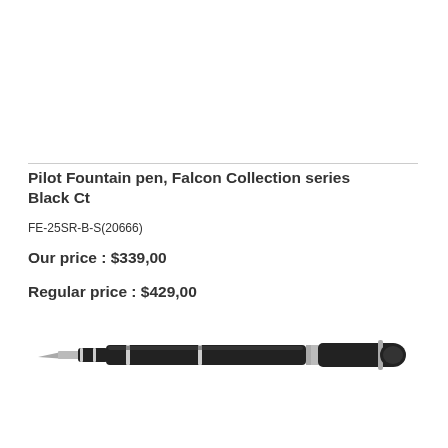Pilot Fountain pen, Falcon Collection series Black Ct
FE-25SR-B-S(20666)
Our price : $339,00
Regular price : $429,00
[Figure (photo): Black and silver Pilot Falcon fountain pen laying horizontally]